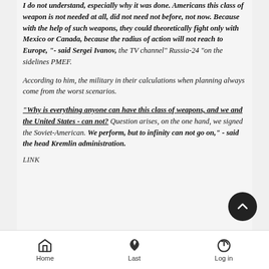I do not understand, especially why it was done. Americans this class of weapon is not needed at all, did not need not before, not now. Because with the help of such weapons, they could theoretically fight only with Mexico or Canada, because the radius of action will not reach to Europe, "- said Sergei Ivanov, the TV channel" Russia-24 "on the sidelines PMEF.
According to him, the military in their calculations when planning always come from the worst scenarios.
"Why is everything anyone can have this class of weapons, and we and the United States - can not? Question arises, on the one hand, we signed the Soviet-American. We perform, but to infinity can not go on," - said the head Kremlin administration.
LINK
Home  Last  Log in